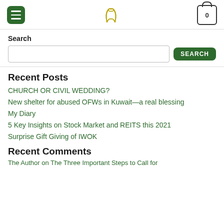Navigation header with menu button, logo, and cart icon
Search
Search input and SEARCH button
Recent Posts
CHURCH OR CIVIL WEDDING?
New shelter for abused OFWs in Kuwait—a real blessing
My Diary
5 Key Insights on Stock Market and REITS this 2021
Surprise Gift Giving of IWOK
Recent Comments
The Author on The Three Important Steps to Call for